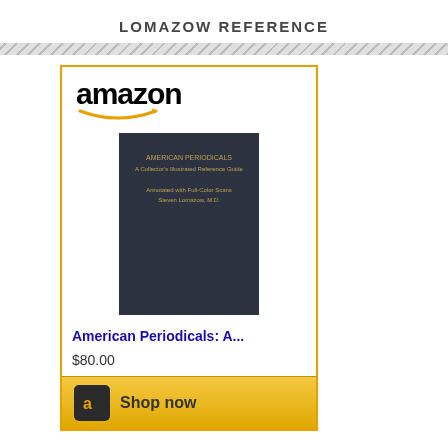LOMAZOW REFERENCE
[Figure (other): Amazon widget showing book listing for 'American Periodicals: A...' priced at $80.00 with a Shop now button]
CATEGORIES
47 (48) (10)